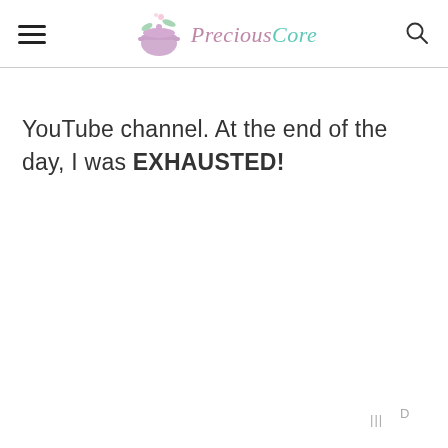Precious Core
YouTube channel. At the end of the day, I was EXHAUSTED!